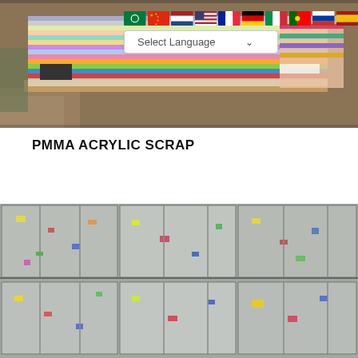[Figure (photo): Stack of colorful PMMA acrylic sheet scraps of various sizes and colors piled on a wooden pallet outdoors, with a language selection bar overlay at the top showing multiple country flags and a 'Select Language' dropdown]
PMMA ACRYLIC SCRAP
[Figure (photo): Bales of crushed and compacted transparent plastic (PET/acrylic) scrap material stacked in rows, showing various colors including clear, white, blue, red, and yellow pieces compressed together]